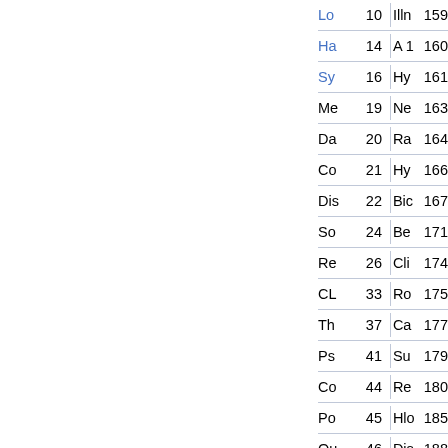| Entry | Num | Entry | Num |
| --- | --- | --- | --- |
| Lo | 10 | Illn | 159 |
| Ha | 14 | A 1 | 160 |
| Sy | 16 | Hy | 161 |
| Me | 19 | Ne | 163 |
| Da | 20 | Ra | 164 |
| Co | 21 | Hy | 166 |
| Dis | 22 | Bic | 167 |
| So | 24 | Be | 171 |
| Re | 26 | Cli | 174 |
| CL | 33 | Ro | 175 |
| Th | 37 | Ca | 177 |
| Ps | 41 | Su | 179 |
| Co | 44 | Re | 180 |
| Po | 45 | Hlo | 185 |
| Qu | 46 | Dis | 188 |
| Wi | 47 | Hig | 196 |
| Re | 48 | Lo | 200 |
| HY | 55 | Hig | 202 |